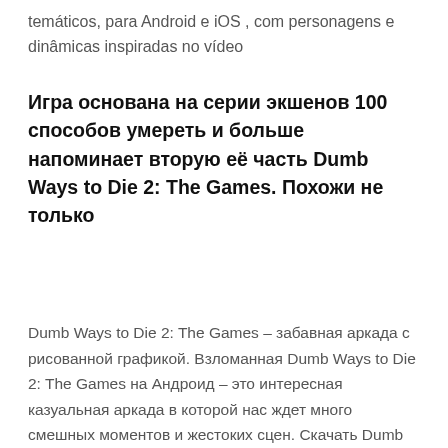temáticos, para Android e iOS , com personagens e dinâmicas inspiradas no vídeo
Игра основана на серии экшенов 100 способов умереть и больше напоминает вторую её часть Dumb Ways to Die 2: The Games. Похожи не только
Search Here
Dumb Ways to Die 2: The Games – забавная аркада с рисованной графикой. Взломанная Dumb Ways to Die 2: The Games на Андроид – это интересная казуальная аркада в которой нас ждет много смешных моментов и жестоких сцен. Скачать Dumb Ways to Die Original + мод (взлом) ... Игра основана на серии экшенов 100 способов умереть и больше напоминает вторую её часть Dumb Ways to Die 2: The Games. Похожи не только персонажи, но и стиль подачи всех ситуаций. Графика в игре очень приятная и